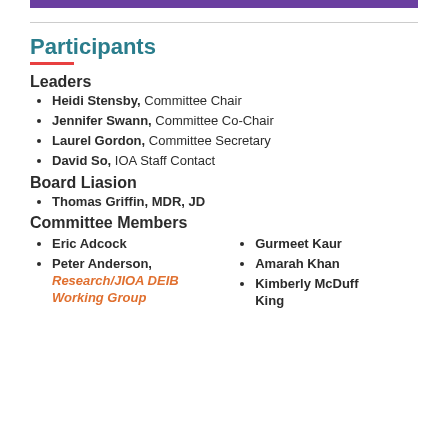Participants
Leaders
Heidi Stensby, Committee Chair
Jennifer Swann, Committee Co-Chair
Laurel Gordon, Committee Secretary
David So, IOA Staff Contact
Board Liasion
Thomas Griffin, MDR, JD
Committee Members
Eric Adcock
Peter Anderson, Research/JIOA DEIB Working Group
Gurmeet Kaur
Amarah Khan
Kimberly McDuff King